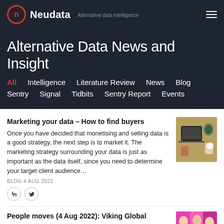Neudata — Alternative data intelligence
Alternative Data News and Insight
All  Intelligence  Literature Review  News  Blog  Sentry  Signal  Tidbits  Sentry Report  Events
Marketing your data – How to find buyers
Once you have decided that monetising and selling data is a good strategy, the next step is to market it. The marketing strategy surrounding your data is just as important as the data itself, since you need to determine your target client audience...
BLOG 4 AUG 2022
[Figure (photo): Person working on laptop at a desk with a plant, notebook, and headphones]
People moves (4 Aug 2022): Viking Global
[Figure (photo): Colourful abstract/people image]